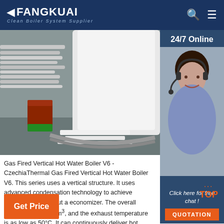FANGKUAI - Clean Boiler System Supplier
[Figure (photo): Photo of a gas fired vertical hot water boiler with pipes and equipment on a factory floor]
[Figure (photo): 24/7 Online customer service agent with headset - sidebar widget]
Gas Fired Vertical Hot Water Boiler V6 - CzechiaThermal Gas Fired Vertical Hot Water Boiler V6. This series uses a vertical structure. It uses advanced condensation technology to achieve condensation without a economizer. The overall footprint is only 1.4m³, and the exhaust temperature is as low as 50°C. It can continuously deliver hot water to schools, shopping malls, hotels, offices and ...
Click here for free chat !
QUOTATION
TOP
Get Price